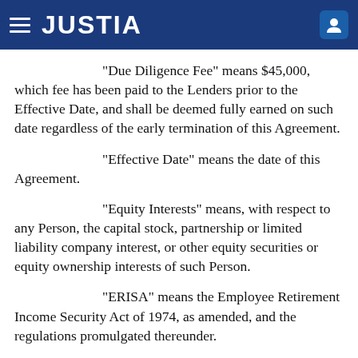JUSTIA
“Due Diligence Fee” means $45,000, which fee has been paid to the Lenders prior to the Effective Date, and shall be deemed fully earned on such date regardless of the early termination of this Agreement.
“Effective Date” means the date of this Agreement.
“Equity Interests” means, with respect to any Person, the capital stock, partnership or limited liability company interest, or other equity securities or equity ownership interests of such Person.
“ERISA” means the Employee Retirement Income Security Act of 1974, as amended, and the regulations promulgated thereunder.